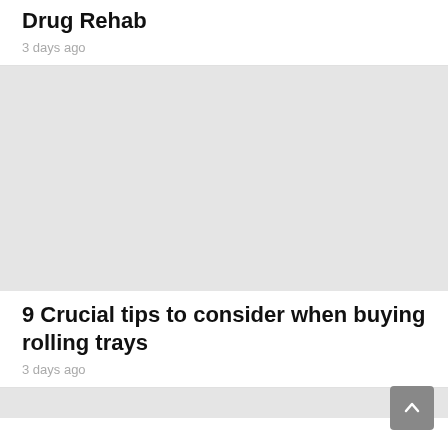Drug Rehab
3 days ago
[Figure (photo): Gray placeholder image for article about rolling trays]
9 Crucial tips to consider when buying rolling trays
3 days ago
[Figure (photo): Gray placeholder image at bottom of page]